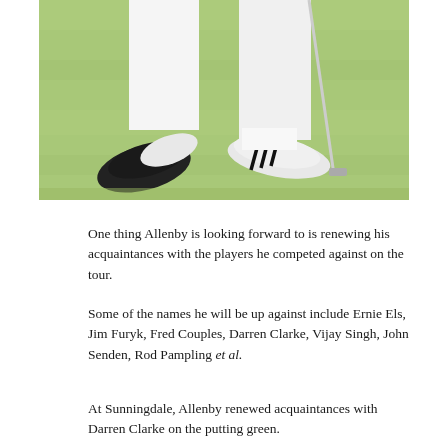[Figure (photo): Close-up photo of a golfer's legs from about the knees down, wearing white trousers and white golf shoes with black adidas stripes, walking on a green golf course while holding a putter club.]
One thing Allenby is looking forward to is renewing his acquaintances with the players he competed against on the tour.
Some of the names he will be up against include Ernie Els, Jim Furyk, Fred Couples, Darren Clarke, Vijay Singh, John Senden, Rod Pampling et al.
At Sunningdale, Allenby renewed acquaintances with Darren Clarke on the putting green.
“Darren was really cool,” Allenby said.